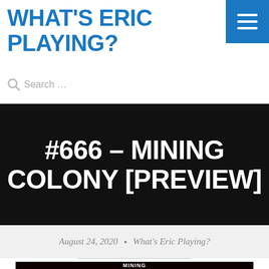WHAT'S ERIC PLAYING?
Search …
#666 – MINING COLONY [PREVIEW]
August 24, 2020  •  What's Eric Playing?
[Figure (photo): Book cover for Mining Colony by Steve Finn, dark background with red imagery and white title text 'MINING']